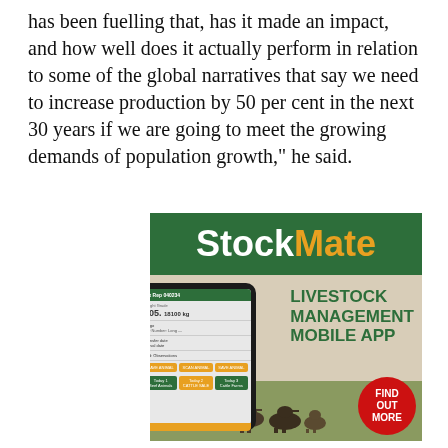has been fuelling that, has it made an impact, and how well does it actually perform in relation to some of the global narratives that say we need to increase production by 50 per cent in the next 30 years if we are going to meet the growing demands of population growth," he said.
[Figure (illustration): StockMate advertisement. Green banner with 'StockMate' logo (white 'Stock', gold 'Mate'). Below: a tablet device showing a livestock management app screen. Text reads 'LIVESTOCK MANAGEMENT MOBILE APP'. Red circular button says 'FIND OUT MORE'. Background shows cattle in a field.]